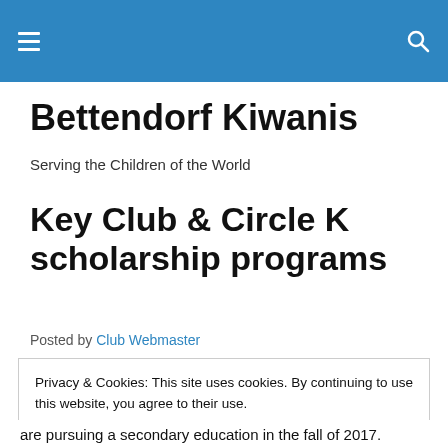Bettendorf Kiwanis — site navigation header
Bettendorf Kiwanis
Serving the Children of the World
Key Club & Circle K scholarship programs
Posted by Club Webmaster
Privacy & Cookies: This site uses cookies. By continuing to use this website, you agree to their use.
To find out more, including how to control cookies, see here: Cookie Policy
[Close and accept]
are pursuing a secondary education in the fall of 2017.